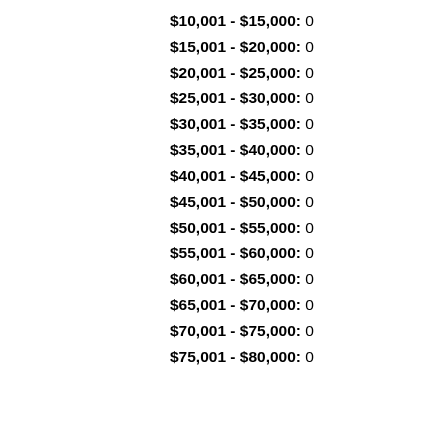$10,001 - $15,000: 0
$15,001 - $20,000: 0
$20,001 - $25,000: 0
$25,001 - $30,000: 0
$30,001 - $35,000: 0
$35,001 - $40,000: 0
$40,001 - $45,000: 0
$45,001 - $50,000: 0
$50,001 - $55,000: 0
$55,001 - $60,000: 0
$60,001 - $65,000: 0
$65,001 - $70,000: 0
$70,001 - $75,000: 0
$75,001 - $80,000: 0